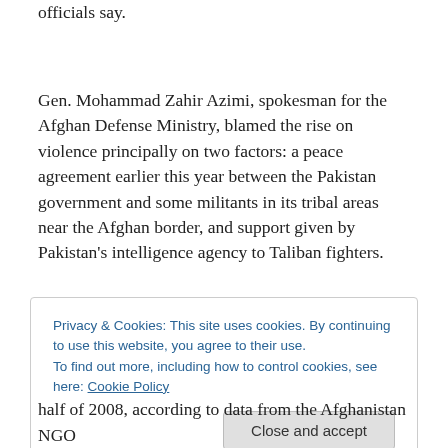officials say.
Gen. Mohammad Zahir Azimi, spokesman for the Afghan Defense Ministry, blamed the rise on violence principally on two factors: a peace agreement earlier this year between the Pakistan government and some militants in its tribal areas near the Afghan border, and support given by Pakistan's intelligence agency to Taliban fighters.
Privacy & Cookies: This site uses cookies. By continuing to use this website, you agree to their use.
To find out more, including how to control cookies, see here: Cookie Policy
Close and accept
half of 2008, according to data from the Afghanistan NGO